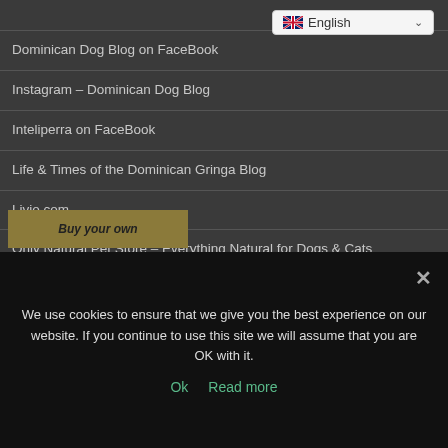[Figure (screenshot): English language selector dropdown button with flag icon and chevron]
Dominican Dog Blog on FaceBook
Instagram – Dominican Dog Blog
Inteliperra on FaceBook
Life & Times of the Dominican Gringa Blog
Livio.com
Only Natural Pet Store – Everything Natural for Dogs & Cats
[Figure (illustration): Partially visible banner with 'Buy your own' italic bold text on olive/gold background]
We use cookies to ensure that we give you the best experience on our website. If you continue to use this site we will assume that you are OK with it.
Ok   Read more